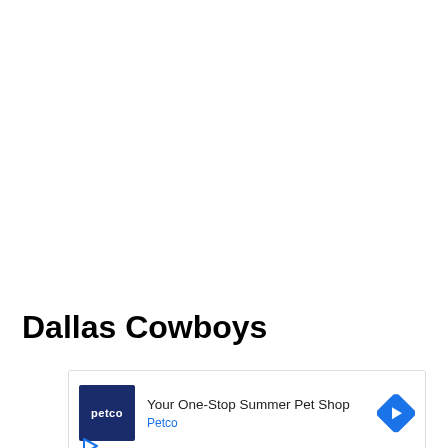Dallas Cowboys
[Figure (infographic): Petco advertisement box with logo, headline 'Your One-Stop Summer Pet Shop', brand name 'Petco', a direction arrow icon, and a play/ad indicator icon]